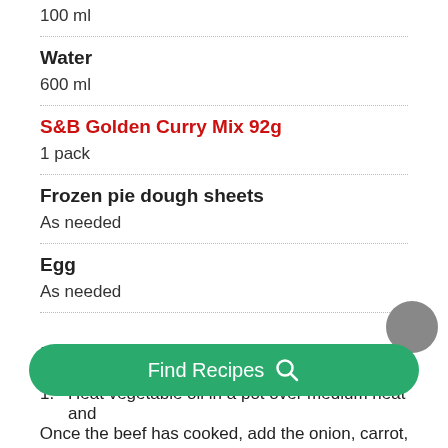100 ml
Water
600 ml
S&B Golden Curry Mix 92g
1 pack
Frozen pie dough sheets
As needed
Egg
As needed
Directions
Heat vegetable oil in a pot over medium heat and
Once the beef has cooked, add the onion, carrot,